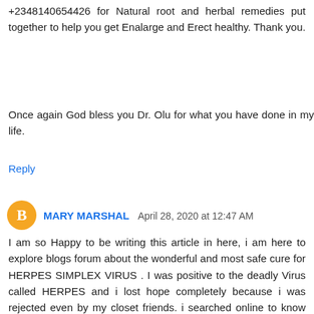+2348140654426 for Natural root and herbal remedies put together to help you get Enalarge and Erect healthy. Thank you.
Once again God bless you Dr. Olu for what you have done in my life.
Reply
MARY MARSHAL  April 28, 2020 at 12:47 AM
I am so Happy to be writing this article in here, i am here to explore blogs forum about the wonderful and most safe cure for HERPES SIMPLEX VIRUS . I was positive to the deadly Virus called HERPES and i lost hope completely because i was rejected even by my closet friends. i searched online to know and inquire about cure for HERPES and i saw Dr EDES testimony online on how he was cured so many persons from Herpes Disease. so i decided to contact the great herbalist because i know that nature has the power to heal everything. i contacted him to know how he can help me and he told me never to worry